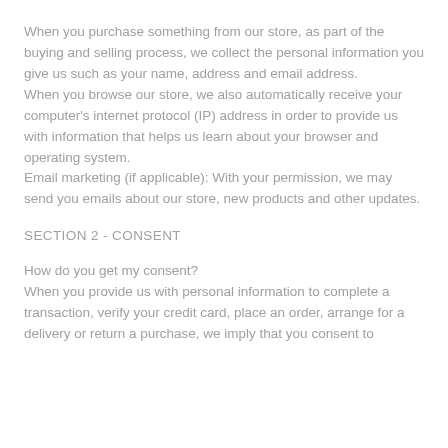When you purchase something from our store, as part of the buying and selling process, we collect the personal information you give us such as your name, address and email address.
When you browse our store, we also automatically receive your computer's internet protocol (IP) address in order to provide us with information that helps us learn about your browser and operating system.
Email marketing (if applicable): With your permission, we may send you emails about our store, new products and other updates.
SECTION 2 - CONSENT
How do you get my consent?
When you provide us with personal information to complete a transaction, verify your credit card, place an order, arrange for a delivery or return a purchase, we imply that you consent to